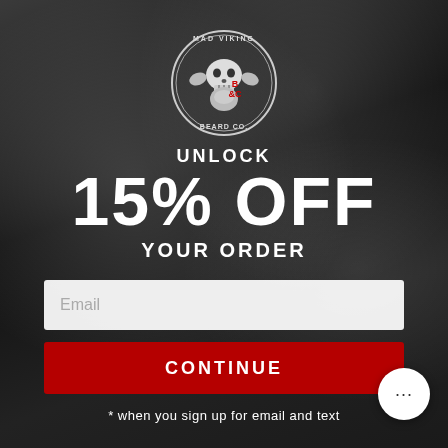[Figure (logo): Mad Viking Beard Co. circular logo with skull illustration]
UNLOCK
15% OFF
YOUR ORDER
Email
CONTINUE
* when you sign up for email and text